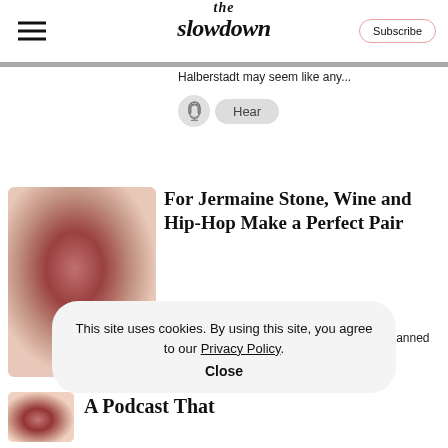the slowdown | Subscribe
Halberstadt may seem like any...
Hear
For Jermaine Stone, Wine and Hip-Hop Make a Perfect Pair
Growing up in the Bronx, Jermaine Stone planned to become a rapper...
This site uses cookies. By using this site, you agree to our Privacy Policy. Close
A Podcast That